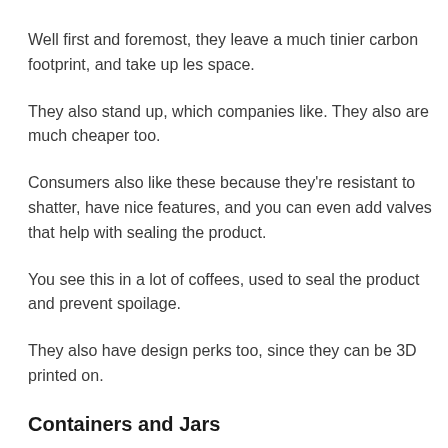Well first and foremost, they leave a much tinier carbon footprint, and take up les space.
They also stand up, which companies like. They also are much cheaper too.
Consumers also like these because they're resistant to shatter, have nice features, and you can even add valves that help with sealing the product.
You see this in a lot of coffees, used to seal the product and prevent spoilage.
They also have design perks too, since they can be 3D printed on.
Containers and Jars